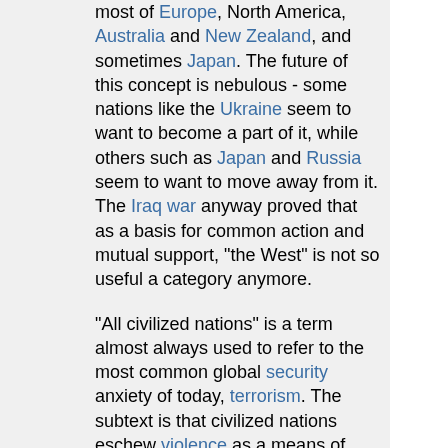most of Europe, North America, Australia and New Zealand, and sometimes Japan. The future of this concept is nebulous - some nations like the Ukraine seem to want to become a part of it, while others such as Japan and Russia seem to want to move away from it. The Iraq war anyway proved that as a basis for common action and mutual support, "the West" is not so useful a category anymore.
"All civilized nations" is a term almost always used to refer to the most common global security anxiety of today, terrorism. The subtext is that civilized nations eschew violence as a means of dealing